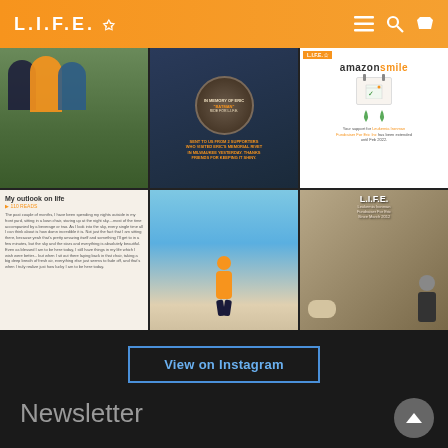L.I.F.E.
[Figure (photo): Instagram grid showing 6 posts: group photo of three people in orange shirts, memorial plaque for Eric, Amazon Smile charity extension notice, blog post titled My outlook on life, person walking on beach in orange shirt, and person with dog holding L.I.F.E. sign]
View on Instagram
Newsletter